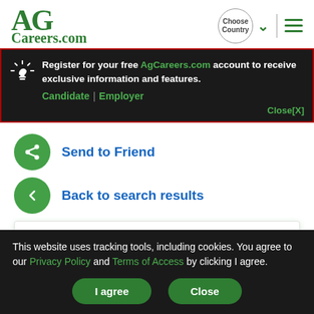[Figure (logo): AGCareers.com logo in green serif font]
Register for your free AgCareers.com account to receive exclusive information and features. Candidate | Employer Close[X]
Send to Friend
Back to search results
Want notifications for positions like this? Provide...
This website uses tracking tools, including cookies. You agree to our Privacy Policy and Terms of Access by clicking I agree.